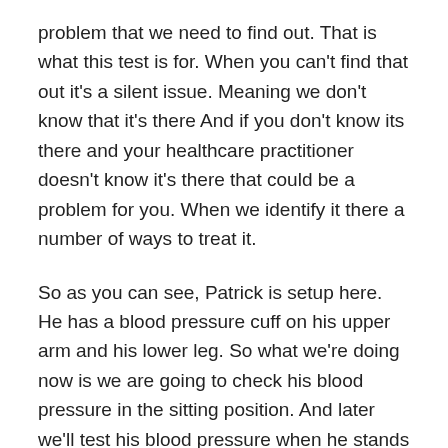problem that we need to find out. That is what this test is for. When you can't find that out it's a silent issue. Meaning we don't know that it's there And if you don't know its there and your healthcare practitioner doesn't know it's there that could be a problem for you. When we identify it there a number of ways to treat it.
So as you can see, Patrick is setup here. He has a blood pressure cuff on his upper arm and his lower leg. So what we're doing now is we are going to check his blood pressure in the sitting position. And later we'll test his blood pressure when he stands up as well. Again, all about the aforementioned heart-rate variability. Are really unique way to find out if there is a silent problem.